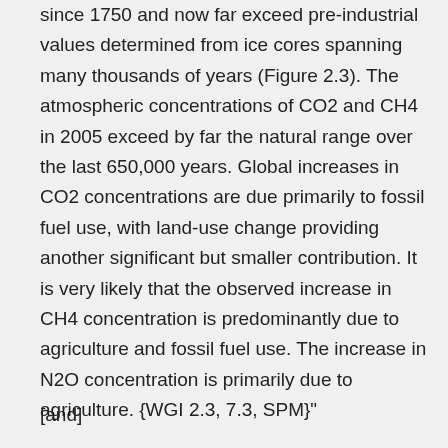since 1750 and now far exceed pre-industrial values determined from ice cores spanning many thousands of years (Figure 2.3). The atmospheric concentrations of CO2 and CH4 in 2005 exceed by far the natural range over the last 650,000 years. Global increases in CO2 concentrations are due primarily to fossil fuel use, with land-use change providing another significant but smaller contribution. It is very likely that the observed increase in CH4 concentration is predominantly due to agriculture and fossil fuel use. The increase in N2O concentration is primarily due to agriculture. {WGI 2.3, 7.3, SPM}"
[and]